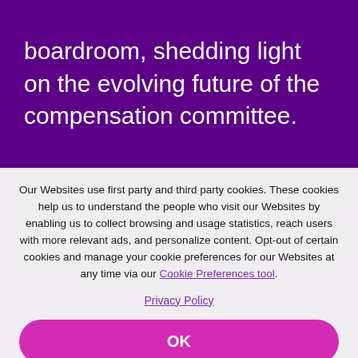boardroom, shedding light on the evolving future of the compensation committee.
Our Websites use first party and third party cookies. These cookies help us to understand the people who visit our Websites by enabling us to collect browsing and usage statistics, reach users with more relevant ads, and personalize content. Opt-out of certain cookies and manage your cookie preferences for our Websites at any time via our Cookie Preferences tool.
Privacy Policy
OK